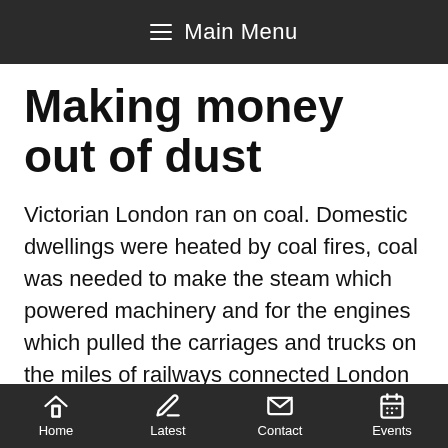≡ Main Menu
Making money out of dust
Victorian London ran on coal. Domestic dwellings were heated by coal fires, coal was needed to make the steam which powered machinery and for the engines which pulled the carriages and trucks on the miles of railways connected London with the rest of the country. It was estimated that every London household burned 11 tons of coal annually. What was to be done with the resulting ashes and trash residue — all that
Home  Latest  Contact  Events